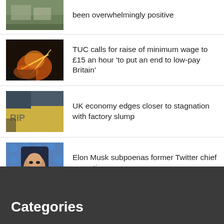been overwhelmingly positive
[Figure (photo): Building or campus exterior photo]
[Figure (photo): Welding sparks industrial photo]
TUC calls for raise of minimum wage to £15 an hour 'to put an end to low-pay Britain'
[Figure (photo): Graffiti or urban scene photo]
UK economy edges closer to stagnation with factory slump
[Figure (photo): Elon Musk face with Twitter bird logo background]
Elon Musk subpoenas former Twitter chief executive
Categories